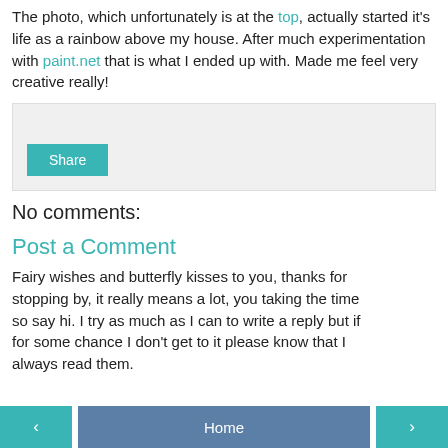The photo, which unfortunately is at the top, actually started it's life as a rainbow above my house. After much experimentation with paint.net that is what I ended up with. Made me feel very creative really!
[Figure (other): Share widget box with a Share button]
No comments:
Post a Comment
Fairy wishes and butterfly kisses to you, thanks for stopping by, it really means a lot, you taking the time so say hi. I try as much as I can to write a reply but if for some chance I don't get to it please know that I always read them.
< Home >